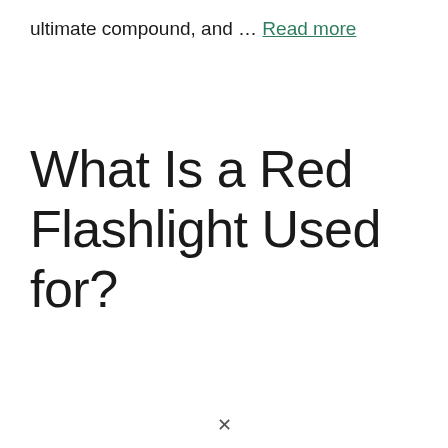ultimate compound, and … Read more
What Is a Red Flashlight Used for?